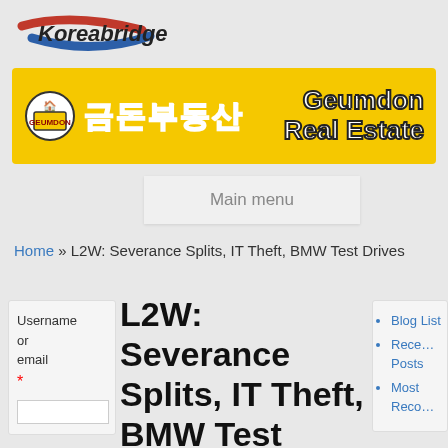[Figure (logo): Koreabridge logo with Korean flag-colored swoosh and text]
[Figure (illustration): Geumdon Real Estate yellow banner with Korean text 금돈부동산 and English text Geumdon Real Estate]
Main menu
Home » L2W: Severance Splits, IT Theft, BMW Test Drives
L2W: Severance Splits, IT Theft, BMW Test Drives
Blog List
Recent Posts
Most Reco...